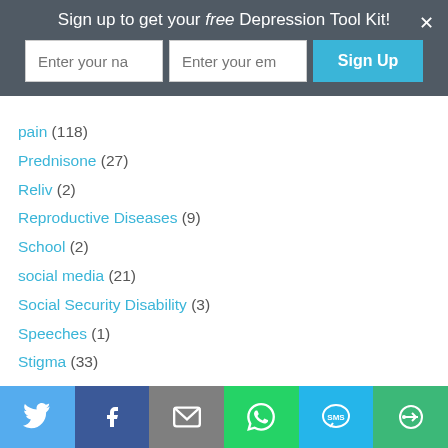Sign up to get your free Depression Tool Kit!
[Figure (screenshot): Sign up form with two text input fields (Enter your name, Enter your email) and a blue Sign Up button]
pain (118)
Prednisone (27)
Reliv (2)
Reproductive Diseases (9)
School (2)
social media (21)
Social Security Disability (3)
Speeches (1)
Stigma (33)
[Figure (infographic): Social share bar with Twitter, Facebook, Email, WhatsApp, SMS, and More buttons]